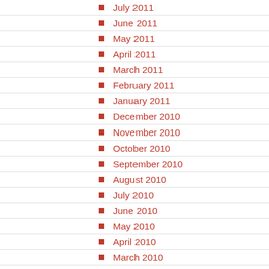July 2011
June 2011
May 2011
April 2011
March 2011
February 2011
January 2011
December 2010
November 2010
October 2010
September 2010
August 2010
July 2010
June 2010
May 2010
April 2010
March 2010
February 2010
January 2010
December 2009
November 2009